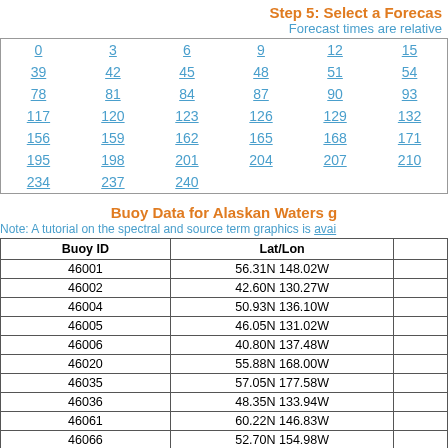Step 5: Select a Forecast Time
Forecast times are relative
| 0 | 3 | 6 | 9 | 12 | 15 |
| 39 | 42 | 45 | 48 | 51 | 54 |
| 78 | 81 | 84 | 87 | 90 | 93 |
| 117 | 120 | 123 | 126 | 129 | 132 |
| 156 | 159 | 162 | 165 | 168 | 171 |
| 195 | 198 | 201 | 204 | 207 | 210 |
| 234 | 237 | 240 |  |  |  |
Buoy Data for Alaskan Waters
Note: A tutorial on the spectral and source term graphics is avai
| Buoy ID | Lat/Lon |  |
| --- | --- | --- |
| 46001 | 56.31N 148.02W |  |
| 46002 | 42.60N 130.27W |  |
| 46004 | 50.93N 136.10W |  |
| 46005 | 46.05N 131.02W |  |
| 46006 | 40.80N 137.48W |  |
| 46020 | 55.88N 168.00W |  |
| 46035 | 57.05N 177.58W |  |
| 46036 | 48.35N 133.94W |  |
| 46061 | 60.22N 146.83W |  |
| 46066 | 52.70N 154.98W |  |
| 46070 | 55.00N 175.28E |  |